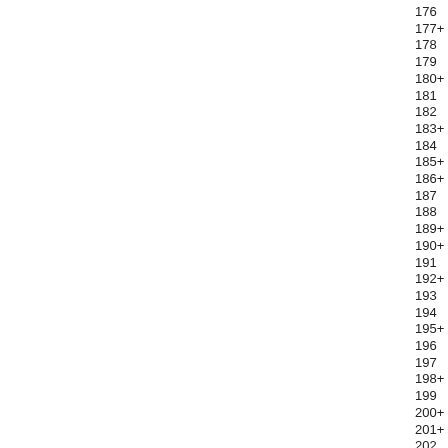176
177+
178
179
180+
181
182
183+
184
185+
186+
187
188
189+
190+
191
192+
193
194
195+
196
197
198+
199
200+
201+
202
203
204+
205+